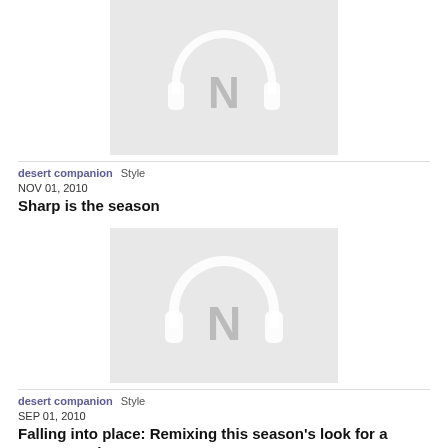[Figure (illustration): Placeholder thumbnail with headphones and N logo on light gray background]
desert companion  Style
NOV 01, 2010
Sharp is the season
[Figure (illustration): Placeholder thumbnail with headphones and N logo on light gray background]
desert companion  Style
SEP 01, 2010
Falling into place: Remixing this season’s look for a Vegas touch